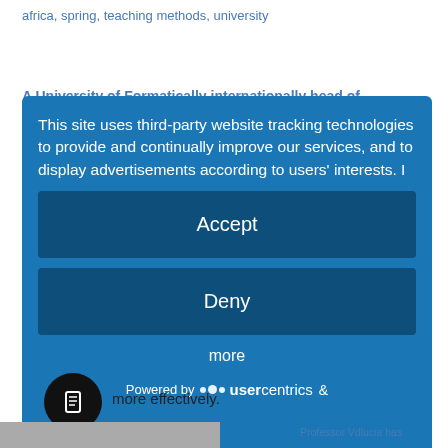africa, spring, teaching methods, university
This site uses third-party website tracking technologies to provide and continually improve our services, and to display advertisements according to users' interests. I
Accept
Deny
more
Powered by usercentrics &
pe more effectively.
Professor Vdlucia has